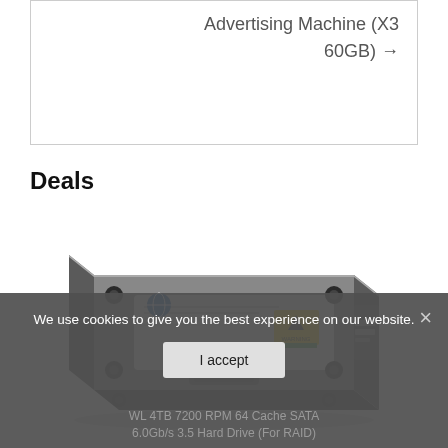Advertising Machine (X3 60GB) →
Deals
[Figure (photo): A 3.5 inch hard disk drive (HDD) viewed from an angle, showing the top label with a blue globe logo, yellow warning sticker, and metallic casing with mounting holes.]
We use cookies to give you the best experience on our website.
I accept
WL 4TB 7200 RPM 64 Cache SATA 6.0Gb/s 3.5 Hard Drive (For RAID)